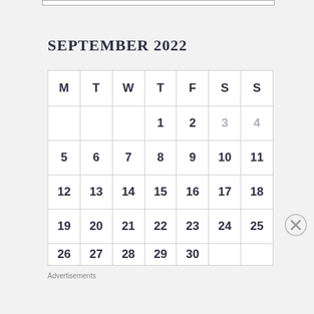SEPTEMBER 2022
| M | T | W | T | F | S | S |
| --- | --- | --- | --- | --- | --- | --- |
|  |  |  | 1 | 2 | 3 | 4 |
| 5 | 6 | 7 | 8 | 9 | 10 | 11 |
| 12 | 13 | 14 | 15 | 16 | 17 | 18 |
| 19 | 20 | 21 | 22 | 23 | 24 | 25 |
| 26 | 27 | 28 | 29 | 30 |  |  |
Advertisements